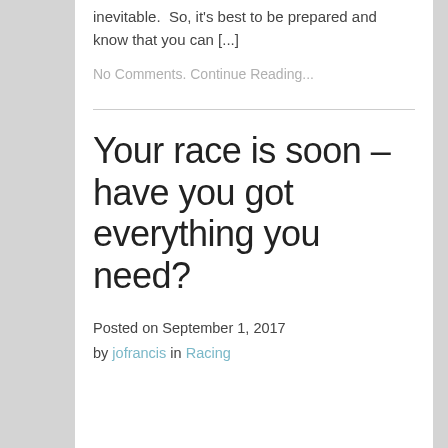inevitable.  So, it's best to be prepared and know that you can [...]
No Comments. Continue Reading...
Your race is soon – have you got everything you need?
Posted on September 1, 2017 by jofrancis in Racing